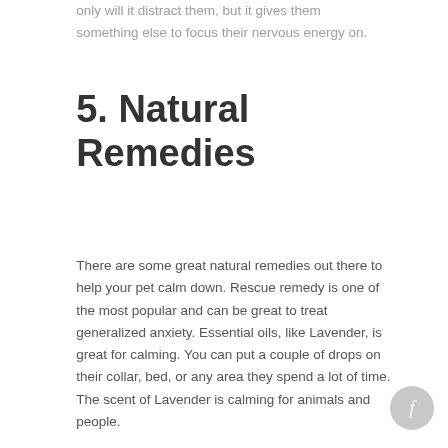only will it distract them, but it gives them something else to focus their nervous energy on.
5. Natural Remedies
There are some great natural remedies out there to help your pet calm down. Rescue remedy is one of the most popular and can be great to treat generalized anxiety. Essential oils, like Lavender, is great for calming. You can put a couple of drops on their collar, bed, or any area they spend a lot of time. The scent of Lavender is calming for animals and people.